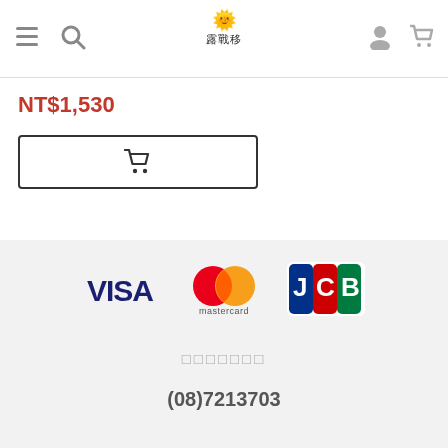Navigation bar with menu, search, logo, user and cart icons
NT$1,530
[Figure (other): Add to cart button with shopping cart icon]
[Figure (other): Payment logos: VISA, Mastercard, JCB]
□□□□□□□
(08)7213703